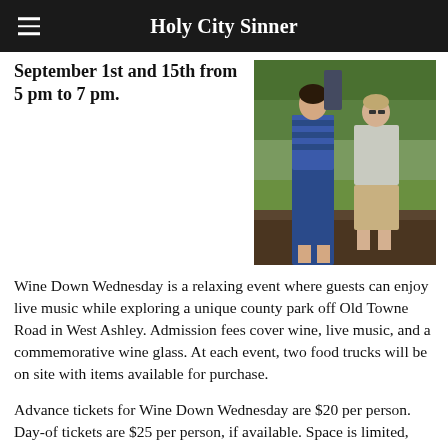Holy City Sinner
September 1st and 15th from 5 pm to 7 pm.
[Figure (photo): Two people standing outdoors in a grassy/wooded park area. Person on left wears a blue striped top and dark blue skirt. Person on right wears a light grey shirt and khaki shorts.]
Wine Down Wednesday is a relaxing event where guests can enjoy live music while exploring a unique county park off Old Towne Road in West Ashley. Admission fees cover wine, live music, and a commemorative wine glass. At each event, two food trucks will be on site with items available for purchase.
Advance tickets for Wine Down Wednesday are $20 per person. Day-of tickets are $25 per person, if available. Space is limited, and each event is expected to sell out in advance.